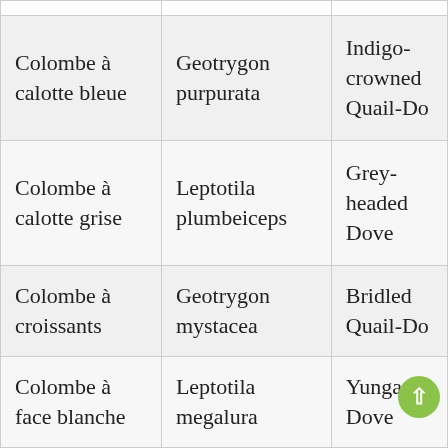|  |  |  |
| Colombe à calotte bleue | Geotrygon purpurata | Indigo-crowned Quail-Do |
| Colombe à calotte grise | Leptotila plumbeiceps | Grey-headed Dove |
| Colombe à croissants | Geotrygon mystacea | Bridled Quail-Do |
| Colombe à face blanche | Leptotila megalura | Yunga Dove |